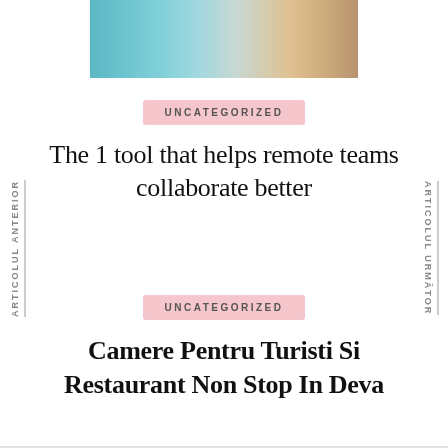[Figure (photo): Partial view of a sailboat on turquoise sea water with distant mountains, cropped image at top of page]
ARTICOLUL ANTERIOR
ARTICOLUL URMĂTOR
UNCATEGORIZED
The 1 tool that helps remote teams collaborate better
UNCATEGORIZED
Camere Pentru Turisti Si Restaurant Non Stop In Deva